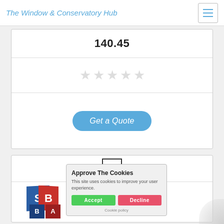The Window & Conservatory Hub
140.45
[Figure (illustration): Five empty star rating icons in light gray]
[Figure (illustration): Get a Quote button (blue rounded rectangle)]
[Figure (illustration): Checkbox icon with checkmark]
[Figure (logo): SBA logo with blue and red 3D block letters: S, B on left; B, A on bottom]
Approve The Cookies
This site uses cookies to improve your user experience.
Accept   Decline
Cookie policy